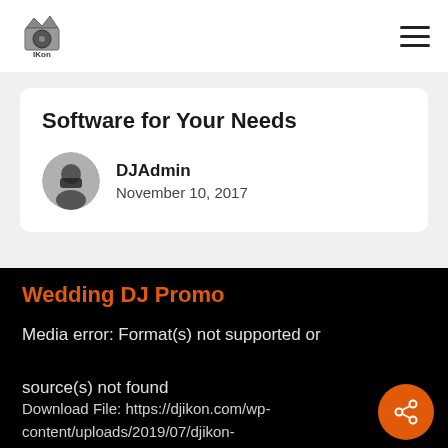[Figure (logo): DJIkon logo with crown and turntable icon]
Software for Your Needs
DJAdmin
November 10, 2017
Wedding DJ Promo
Media error: Format(s) not supported or source(s) not found
Download File: https://djikon.com/wp-content/uploads/2019/07/djikon-